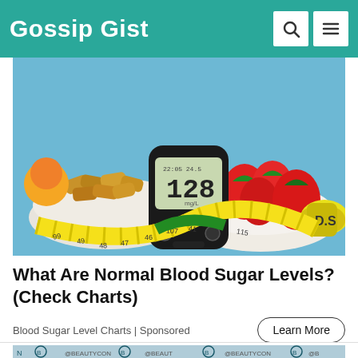Gossip Gist
[Figure (photo): Blood glucose meter displaying 128 mg/dL reading, surrounded by a bowl of strawberries, cereal, measuring tape, and a yellow dumbbell on a blue background]
What Are Normal Blood Sugar Levels? (Check Charts)
Blood Sugar Level Charts | Sponsored
[Figure (photo): Person at a Beautycon event with @Beautycon branded backdrop]